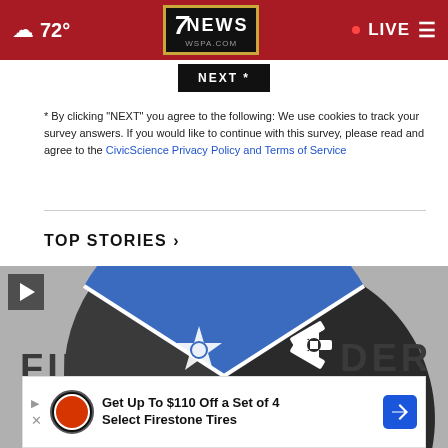72° | 7NEWS WSPA.COM | LIVE
NEXT *
* By clicking "NEXT" you agree to the following: We use cookies to track your survey answers. If you would like to continue with this survey, please read and agree to the CivicScience Privacy Policy and Terms of Service
TOP STORIES ›
[Figure (logo): First Responder circular logo with sheriff star (blue), medical star of life (dark), and fire gear (red) symbols divided into thirds]
[Figure (infographic): Advertisement banner: Get Up To $110 Off a Set of 4 Select Firestone Tires with Tires Plus logo and navigation arrow icon]